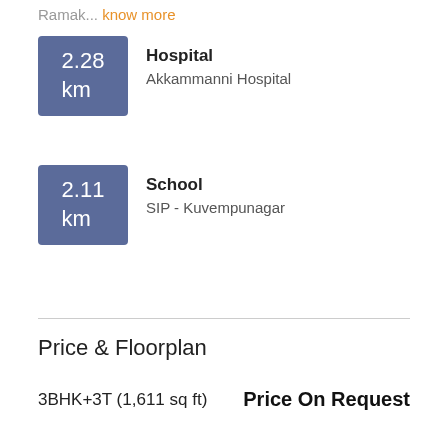Ramak... know more
2.28 km — Hospital — Akkammanni Hospital
2.11 km — School — SIP - Kuvempunagar
Price & Floorplan
3BHK+3T (1,611 sq ft)
Price On Request